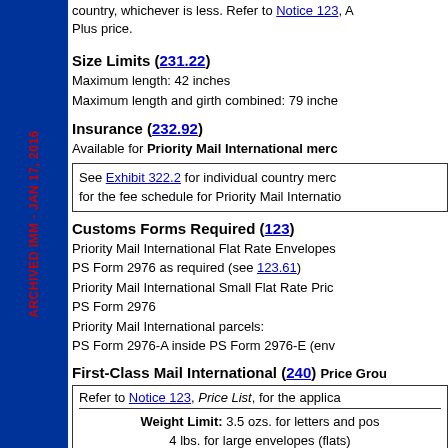country, whichever is less. Refer to Notice 123, A... Plus price.
Size Limits (231.22)
Maximum length: 42 inches
Maximum length and girth combined: 79 inches
Insurance (232.92)
Available for Priority Mail International merc...
See Exhibit 322.2 for individual country merch... for the fee schedule for Priority Mail Internatio...
Customs Forms Required (123)
Priority Mail International Flat Rate Envelopes PS Form 2976 as required (see 123.61)
Priority Mail International Small Flat Rate Pric... PS Form 2976
Priority Mail International parcels:
PS Form 2976-A inside PS Form 2976-E (env...
First-Class Mail International (240) Price Grou...
Refer to Notice 123, Price List, for the applica...
Weight Limit: 3.5 ozs. for letters and pos...
4 lbs. for large envelopes (flats)
Size Limits
Letters: See 241.212
Postcards: See 241.221
Large Envelopes (Flats): See 241.232